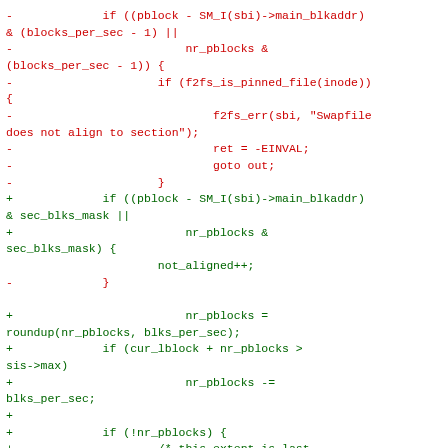[Figure (other): Code diff snippet showing removed (red, prefixed with -) and added (green, prefixed with +) lines of C code related to f2fs filesystem block alignment and swap file logic.]